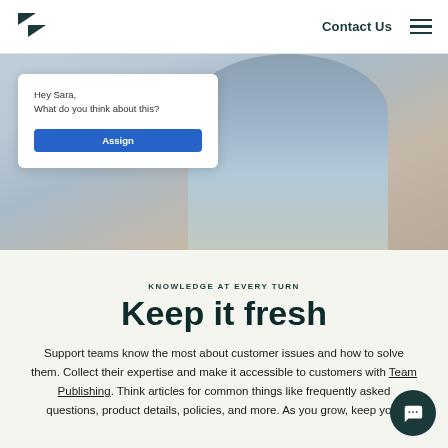Zendesk logo | Contact Us | Menu
[Figure (screenshot): Screenshot of a Zendesk UI card overlay on a photo of a person in a light blue sweater. The card shows a dialog with text 'Hey Sara, What do you think about this?' and a blue 'Assign' button.]
KNOWLEDGE AT EVERY TURN
Keep it fresh
Support teams know the most about customer issues and how to solve them. Collect their expertise and make it accessible to customers with Team Publishing. Think articles for common things like frequently asked questions, product details, policies, and more. As you grow, keep your